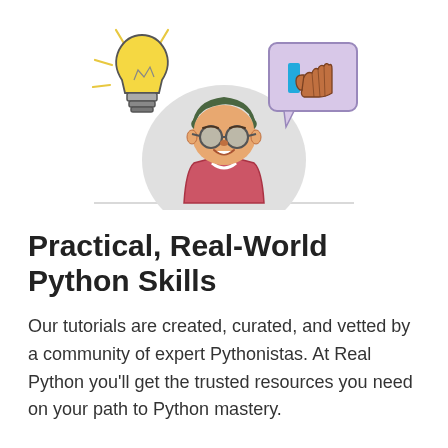[Figure (illustration): Illustrated character with green hair and blue glasses, holding a glowing light bulb idea icon on the left and a thumbs-up speech bubble on the right, over a light gray circular background with a horizontal line at the bottom.]
Practical, Real-World Python Skills
Our tutorials are created, curated, and vetted by a community of expert Pythonistas. At Real Python you'll get the trusted resources you need on your path to Python mastery.